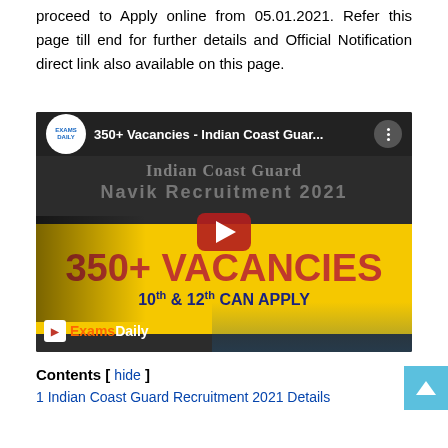proceed to Apply online from 05.01.2021. Refer this page till end for further details and Official Notification direct link also available on this page.
[Figure (screenshot): YouTube video thumbnail for '350+ Vacancies - Indian Coast Guar...' from ExamsDaily channel, showing Indian Coast Guard Navik Recruitment 2021 with 350+ Vacancies banner and play button]
Contents [ hide ]
1 Indian Coast Guard Recruitment 2021 Details